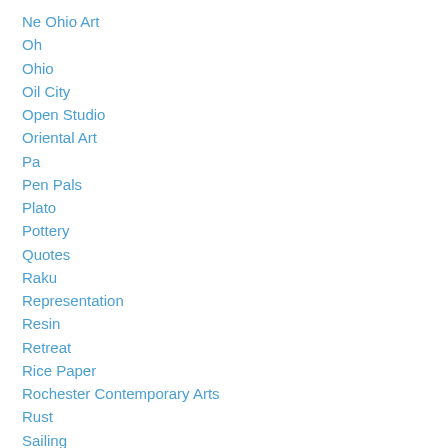Ne Ohio Art
Oh
Ohio
Oil City
Open Studio
Oriental Art
Pa
Pen Pals
Plato
Pottery
Quotes
Raku
Representation
Resin
Retreat
Rice Paper
Rochester Contemporary Arts
Rust
Sailing
Sandpiper Gallery